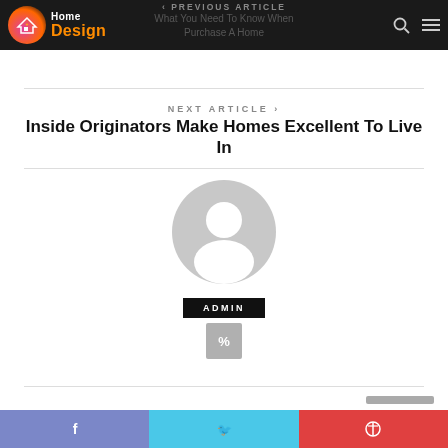Home Design — Navigation bar with logo
PREVIOUS ARTICLE — What You Need To Know When Purchase A Home
NEXT ARTICLE
Inside Originators Make Homes Excellent To Live In
[Figure (illustration): Default user avatar — circular gray silhouette of a person]
ADMIN
[Figure (other): Small gray link/chain icon button]
Social share bar with Facebook, Twitter, and Pinterest icons